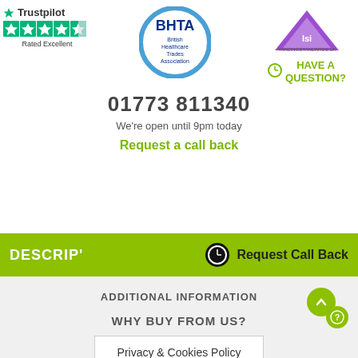[Figure (logo): Trustpilot logo with 5 green stars and text 'Rated Excellent']
[Figure (logo): BHTA (British Healthcare Trades Association) circular blue logo]
[Figure (logo): Trading Standards TSI logo with purple triangle and tradingstandards.uk text and 'HAVE A QUESTION?' in green]
01773 811340
We're open until 9pm today
Request a call back
DESCRIP'
Request Call Back
ADDITIONAL INFORMATION
WHY BUY FROM US?
Privacy & Cookies Policy